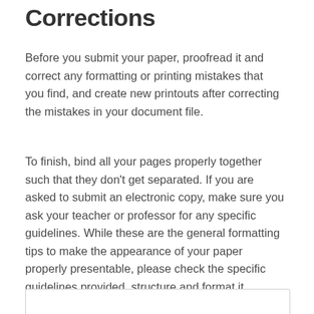Corrections
Before you submit your paper, proofread it and correct any formatting or printing mistakes that you find, and create new printouts after correcting the mistakes in your document file.
To finish, bind all your pages properly together such that they don't get separated. If you are asked to submit an electronic copy, make sure you ask your teacher or professor for any specific guidelines. While these are the general formatting tips to make the appearance of your paper properly presentable, please check the specific guidelines provided, structure and format it according to the style required.
[Figure (other): Empty bordered box at bottom of page]